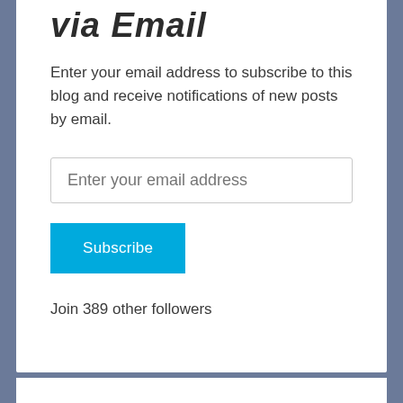via Email
Enter your email address to subscribe to this blog and receive notifications of new posts by email.
Enter your email address
Subscribe
Join 389 other followers